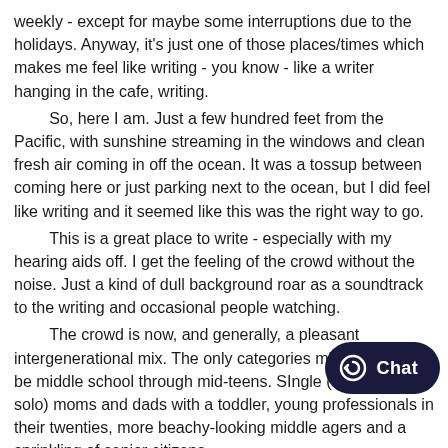weekly - except for maybe some interruptions due to the holidays. Anyway, it's just one of those places/times which makes me feel like writing - you know - like a writer hanging in the cafe, writing.
	So, here I am. Just a few hundred feet from the Pacific, with sunshine streaming in the windows and clean fresh air coming in off the ocean. It was a tossup between coming here or just parking next to the ocean, but I did feel like writing and it seemed like this was the right way to go.
	This is a great place to write - especially with my hearing aids off. I get the feeling of the crowd without the noise. Just a kind of dull background roar as a soundtrack to the writing and occasional people watching.
	The crowd is now, and generally, a pleasant intergenerational mix. The only categories missing might be middle school through mid-teens. SIngle (or at least solo) moms and dads with a toddler, young professionals in their twenties, more beachy-looking middle agers and a sprinkling of senior citizens.
	I noticed a small change today. The wifi now states that it is limited to two hours. Understandable and no constraint fo have about 1/1/2 hours between dropping Trish off